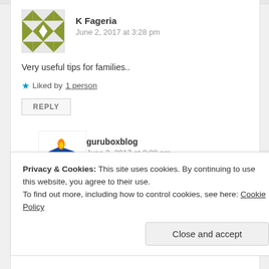K Fageria
June 2, 2017 at 3:28 pm
Very useful tips for families..
Liked by 1 person
REPLY
guruboxblog
June 2, 2017 at 3:30 pm
Privacy & Cookies: This site uses cookies. By continuing to use this website, you agree to their use.
To find out more, including how to control cookies, see here: Cookie Policy
Close and accept